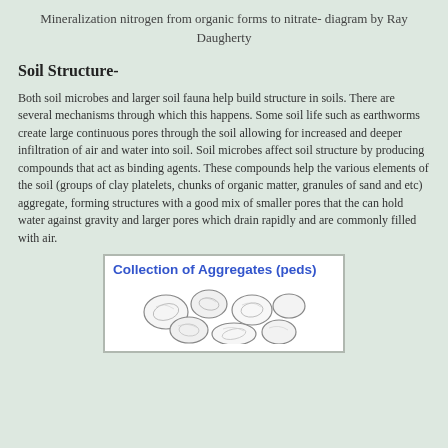Mineralization nitrogen from organic forms to nitrate- diagram by Ray Daugherty
Soil Structure-
Both soil microbes and larger soil fauna help build structure in soils.  There are several mechanisms through which this happens.  Some soil life such as earthworms create large continuous pores through the soil allowing for increased and deeper infiltration of air and water into soil.  Soil microbes affect soil structure by producing compounds that act as binding agents.  These compounds help the various elements of the soil (groups of clay platelets, chunks of organic matter, granules of sand and etc) aggregate, forming structures with a good mix of smaller pores that the can hold water against gravity and larger pores which drain rapidly and are commonly filled with air.
[Figure (illustration): Illustration titled 'Collection of Aggregates (peds)' showing a hand-drawn sketch of soil aggregates/peds clumped together]